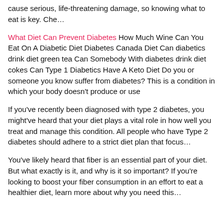cause serious, life-threatening damage, so knowing what to eat is key. Che…
What Diet Can Prevent Diabetes How Much Wine Can You Eat On A Diabetic Diet Diabetes Canada Diet Can diabetics drink diet green tea Can Somebody With diabetes drink diet cokes Can Type 1 Diabetics Have A Keto Diet Do you or someone you know suffer from diabetes? This is a condition in which your body doesn't produce or use
If you've recently been diagnosed with type 2 diabetes, you might've heard that your diet plays a vital role in how well you treat and manage this condition. All people who have Type 2 diabetes should adhere to a strict diet plan that focus…
You've likely heard that fiber is an essential part of your diet. But what exactly is it, and why is it so important? If you're looking to boost your fiber consumption in an effort to eat a healthier diet, learn more about why you need this…